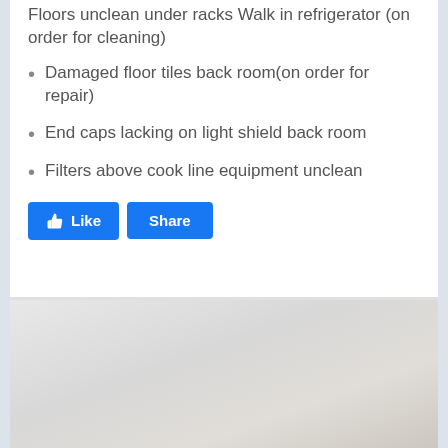Floors unclean under racks Walk in refrigerator (on order for cleaning)
Damaged floor tiles back room(on order for repair)
End caps lacking on light shield back room
Filters above cook line equipment unclean
[Figure (screenshot): Like and Share buttons (Facebook-style blue buttons)]
[Figure (photo): Partially visible photograph at bottom of page, muted tones showing indistinct content]